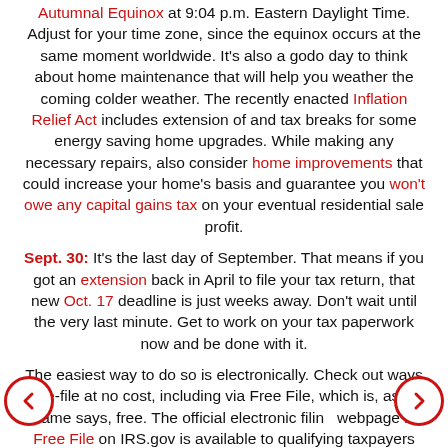Autumnal Equinox at 9:04 p.m. Eastern Daylight Time. Adjust for your time zone, since the equinox occurs at the same moment worldwide. It's also a godo day to think about home maintenance that will help you weather the coming colder weather. The recently enacted Inflation Relief Act includes extension of and tax breaks for some energy saving home upgrades. While making any necessary repairs, also consider home improvements that could increase your home's basis and guarantee you won't owe any capital gains tax on your eventual residential sale profit.
Sept. 30: It's the last day of September. That means if you got an extension back in April to file your tax return, that new Oct. 17 deadline is just weeks away. Don't wait until the very last minute. Get to work on your tax paperwork now and be done with it.
The easiest way to do so is electronically. Check out ways to e-file at no cost, including via Free File, which is, as its name says, free. The official electronic filing webpage is Free File on IRS.gov is available to qualifying taxpayers until midnight, Eastern Time, on Oct. 17.